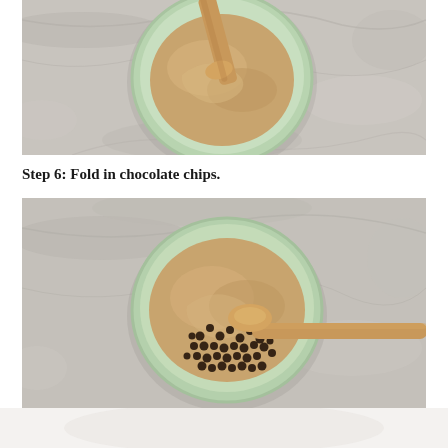[Figure (photo): Top-down view of a light green ceramic bowl containing creamy tan cookie dough being stirred with a wooden spoon, on a grey marble surface.]
Step 6: Fold in chocolate chips.
[Figure (photo): Top-down view of a light green ceramic bowl containing cookie dough with a pile of mini chocolate chips added and a wooden spoon resting in the bowl, on a grey marble surface. Bottom of image shows a white surface.]